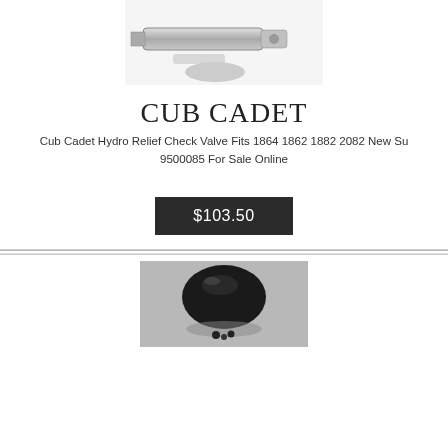[Figure (photo): Product photo of Cub Cadet Hydro Relief Check Valve, metallic silver fitting, top portion visible]
CUB CADET
Cub Cadet Hydro Relief Check Valve Fits 1864 1862 1882 2082 New Su 9500085 For Sale Online
$103.50
[Figure (photo): Product photo of a small black round cap or plug, partially visible at bottom of page]